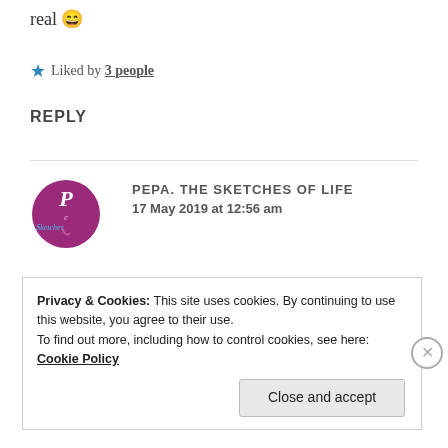real 😄
★ Liked by 3 people
REPLY
[Figure (logo): Pepa The Sketches of Life circular logo with pink/magenta circle and stylized lettering]
PEPA. THE SKETCHES OF LIFE
17 May 2019 at 12:56 am
We on this huh?
Privacy & Cookies: This site uses cookies. By continuing to use this website, you agree to their use.
To find out more, including how to control cookies, see here: Cookie Policy
Close and accept